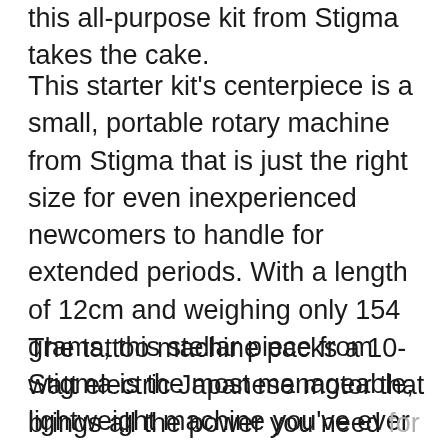this all-purpose kit from Stigma takes the cake.
This starter kit's centerpiece is a small, portable rotary machine from Stigma that is just the right size for even inexperienced newcomers to handle for extended periods. With a length of 12cm and weighing only 154 grams, this stellar piece from Stigma is the most manageable, lightweight machine you've ever seen. The supreme aesthetics and the sleek matte body on this unit is also a big plus.
The tattoo machine packs a 10-watt electric Japanese motor that brings all the power you need for all your tattooing tasks. The motor's high-end construction means that you can leave it running